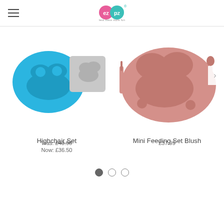ezpz — less mess more fun
[Figure (photo): Two silicone baby feeding mats/sets: a blue oval smiling face mat and a grey square smiling face mat]
Highchair Set
Was: £40.98
Now: £36.50
[Figure (photo): A pink/blush silicone mini feeding set with smiling face design, showing three compartments and utensils]
Mini Feeding Set Blush
£37.99